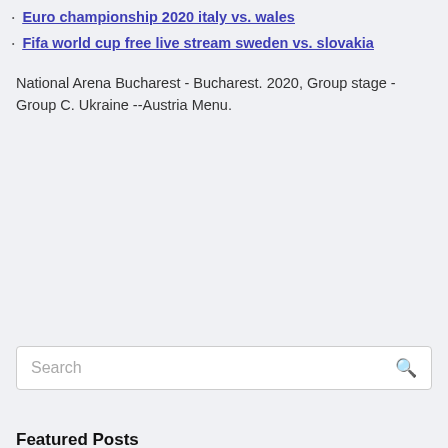Euro championship 2020 italy vs. wales
Fifa world cup free live stream sweden vs. slovakia
National Arena Bucharest - Bucharest. 2020, Group stage - Group C. Ukraine --Austria Menu.
Search
Featured Posts